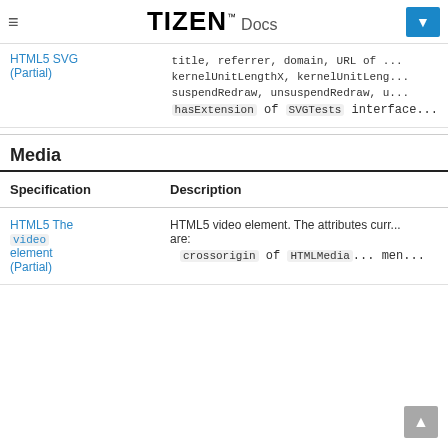TIZEN Docs
title, referrer, domain, URL or ...
kernelUnitLengthX, kernelUnitLeng...
suspendRedraw, unsuspendRedraw, u...
hasExtension of SVGTests interface...
Media
| Specification | Description |
| --- | --- |
| HTML5 The video element (Partial) | HTML5 video element. The attributes curr... are:
• crossorigin of HTMLMedia... men... |